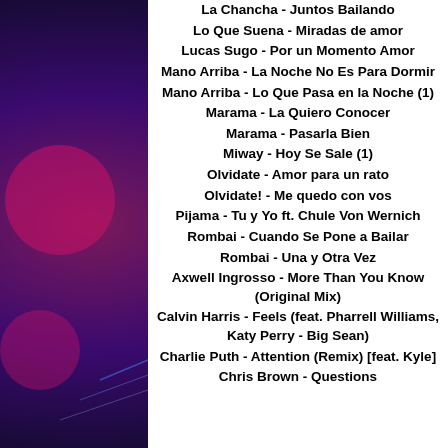La Chancha - Juntos Bailando
Lo Que Suena - Miradas de amor
Lucas Sugo - Por un Momento Amor
Mano Arriba - La Noche No Es Para Dormir
Mano Arriba - Lo Que Pasa en la Noche (1)
Marama - La Quiero Conocer
Marama - Pasarla Bien
Miway - Hoy Se Sale (1)
Olvidate - Amor para un rato
Olvidate! - Me quedo con vos
Pijama - Tu y Yo ft. Chule Von Wernich
Rombai - Cuando Se Pone a Bailar
Rombai - Una y Otra Vez
Axwell Ingrosso - More Than You Know (Original Mix)
Calvin Harris - Feels (feat. Pharrell Williams, Katy Perry - Big Sean)
Charlie Puth - Attention (Remix) [feat. Kyle]
Chris Brown - Questions